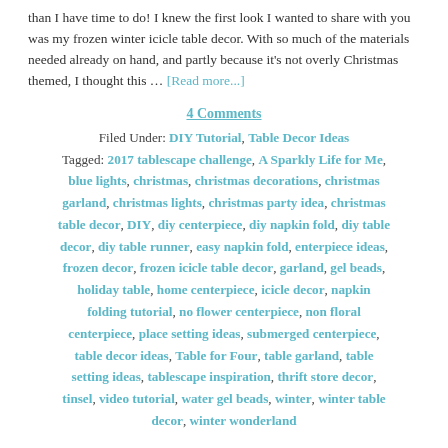than I have time to do! I knew the first look I wanted to share with you was my frozen winter icicle table decor. With so much of the materials needed already on hand, and partly because it's not overly Christmas themed, I thought this … [Read more...]
4 Comments
Filed Under: DIY Tutorial, Table Decor Ideas
Tagged: 2017 tablescape challenge, A Sparkly Life for Me, blue lights, christmas, christmas decorations, christmas garland, christmas lights, christmas party idea, christmas table decor, DIY, diy centerpiece, diy napkin fold, diy table decor, diy table runner, easy napkin fold, enterpiece ideas, frozen decor, frozen icicle table decor, garland, gel beads, holiday table, home centerpiece, icicle decor, napkin folding tutorial, no flower centerpiece, non floral centerpiece, place setting ideas, submerged centerpiece, table decor ideas, Table for Four, table garland, table setting ideas, tablescape inspiration, thrift store decor, tinsel, video tutorial, water gel beads, winter, winter table decor, winter wonderland